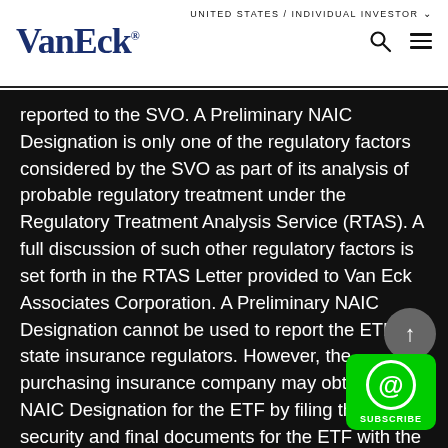UNITED STATES / INDIVIDUAL INVESTOR ∨  VanEck®
reported to the SVO. A Preliminary NAIC Designation is only one of the regulatory factors considered by the SVO as part of its analysis of probable regulatory treatment under the Regulatory Treatment Analysis Service (RTAS). A full discussion of such other regulatory factors is set forth in the RTAS Letter provided to Van Eck Associates Corporation. A Preliminary NAIC Designation cannot be used to report the ETF to state insurance regulators. However, the purchasing insurance company may obtain an NAIC Designation for the ETF by filing the security and final documents for the ETF with the SVO. The indication of probable regulatory treatment indicated by a Preliminary NAIC Design[ation is not] a recommendation to purchase the ETF and is no[t intended] to convey approval or endorsement of the ETF Sp[onsor or] the ETF by the NAIC. The SVO of the NAIC assesses the credit